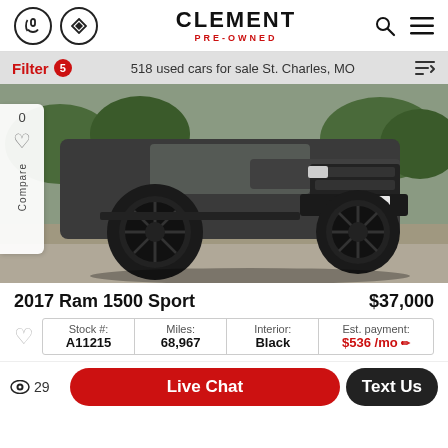CLEMENT PRE-OWNED
Filter 5 — 518 used cars for sale St. Charles, MO
[Figure (photo): Front-angled view of a dark gray 2017 Ram 1500 Sport truck with black aftermarket wheels and lifted suspension, parked on pavement with trees in background.]
2017 Ram 1500 Sport — $37,000
| Stock # | Miles: | Interior: | Est. payment: |
| --- | --- | --- | --- |
| A11215 | 68,967 | Black | $536 /mo |
29 views | Live Chat | Text Us